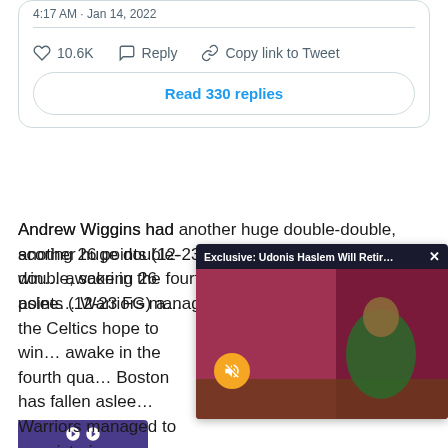[Figure (screenshot): Tweet card with timestamp '4:17 AM · Jan 14, 2022', like count 10.6K, Reply and Copy link to Tweet actions, and a 'Read 330 replies' button]
Andrew Wiggins had another huge double-double, scoring 26 points (12-23 FG) a... the Celtics hope to win... awake in the fourth qua... Boston has fallen aslee... Warriors managed to s... victories.
[Figure (screenshot): Video overlay with title 'Exclusive: Udonis Haslem Will Retir...' showing a man in a green shirt with BOARDROOM logo, mute button visible, purple bar at bottom]